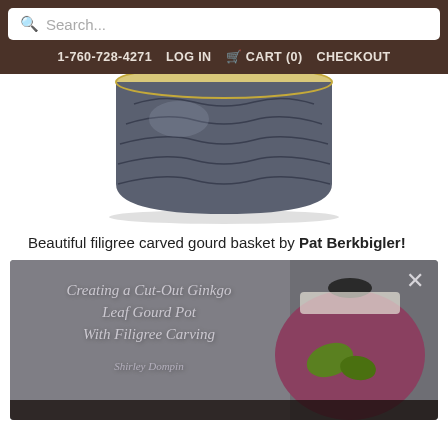Search...
1-760-728-4271  LOG IN  CART (0)  CHECKOUT
[Figure (photo): Bottom portion of a blue filigree carved gourd basket with tan/natural rim visible, shown against white background with subtle shadow]
Beautiful filigree carved gourd basket by Pat Berkbigler!
[Figure (screenshot): Video thumbnail showing 'Creating a Cut-Out Ginkgo Leaf Gourd Pot With Filigree Carving' title text on grey background, with a pink/maroon gourd pot decorated with white honeycomb pattern and green leaves on the right side. A close (X) button is visible in the top right.]